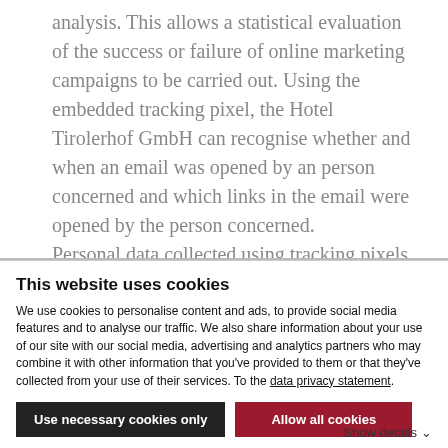analysis. This allows a statistical evaluation of the success or failure of online marketing campaigns to be carried out. Using the embedded tracking pixel, the Hotel Tirolerhof GmbH can recognise whether and when an email was opened by an person concerned and which links in the email were opened by the person concerned. Personal data collected using tracking pixels contained in the newsletters are stored and
This website uses cookies
We use cookies to personalise content and ads, to provide social media features and to analyse our traffic. We also share information about your use of our site with our social media, advertising and analytics partners who may combine it with other information that you've provided to them or that they've collected from your use of their services. To the data privacy statement.
Use necessary cookies only
Allow all cookies
Show details